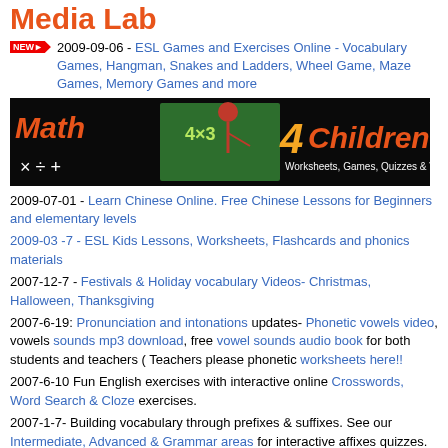Media Lab
2009-09-06 - ESL Games and Exercises Online - Vocabulary Games, Hangman, Snakes and Ladders, Wheel Game, Maze Games, Memory Games and more
[Figure (illustration): Math 4 Children banner: Worksheets, Games, Quizzes & Videos with cartoon child at chalkboard]
2009-07-01 - Learn Chinese Online. Free Chinese Lessons for Beginners and elementary levels
2009-03 -7 - ESL Kids Lessons, Worksheets, Flashcards and phonics materials
2007-12-7 - Festivals & Holiday vocabulary Videos- Christmas, Halloween, Thanksgiving
2007-6-19: Pronunciation and intonations updates- Phonetic vowels video, vowels sounds mp3 download, free vowel sounds audio book for both students and teachers ( Teachers please phonetic worksheets here!!
2007-6-10 Fun English exercises with interactive online Crosswords, Word Search & Cloze exercises.
2007-1-7- Building vocabulary through prefixes & suffixes. See our Intermediate, Advanced & Grammar areas for interactive affixes quizzes. For teachers see English word formation Worksheets on